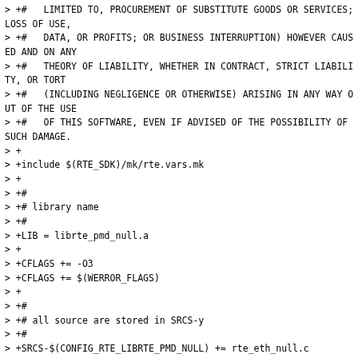> +#   LIMITED TO, PROCUREMENT OF SUBSTITUTE GOODS OR SERVICES; LOSS OF USE,
> +#   DATA, OR PROFITS; OR BUSINESS INTERRUPTION) HOWEVER CAUSED AND ON ANY
> +#   THEORY OF LIABILITY, WHETHER IN CONTRACT, STRICT LIABILITY, OR TORT
> +#   (INCLUDING NEGLIGENCE OR OTHERWISE) ARISING IN ANY WAY OUT OF THE USE
> +#   OF THIS SOFTWARE, EVEN IF ADVISED OF THE POSSIBILITY OF SUCH DAMAGE.
> +
> +include $(RTE_SDK)/mk/rte.vars.mk
> +
> +#
> +# library name
> +#
> +LIB = librte_pmd_null.a
> +
> +CFLAGS += -O3
> +CFLAGS += $(WERROR_FLAGS)
> +
> +#
> +# all source are stored in SRCS-y
> +#
> +SRCS-$(CONFIG_RTE_LIBRTE_PMD_NULL) += rte_eth_null.c
> +
> +#
> +# Export include files
> +#
> +SYMLINK-y-include +=